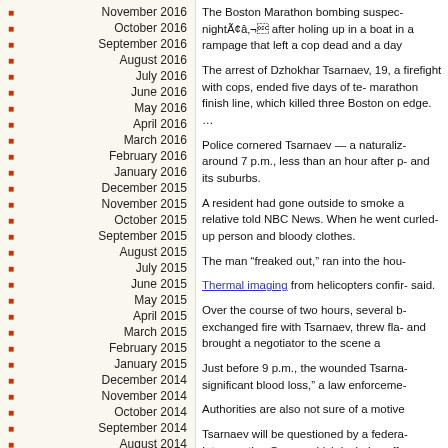November 2016
October 2016
September 2016
August 2016
July 2016
June 2016
May 2016
April 2016
March 2016
February 2016
January 2016
December 2015
November 2015
October 2015
September 2015
August 2015
July 2015
June 2015
May 2015
April 2015
March 2015
February 2015
January 2015
December 2014
November 2014
October 2014
September 2014
August 2014
The Boston Marathon bombing suspec- nightÃ¢â¬ after holing up in a boat in a rampage that left a cop dead and a day
The arrest of Dzhokhar Tsarnaev, 19, a firefight with cops, ended five days of te- marathon finish line, which killed three Boston on edge. …
Police cornered Tsarnaev — a naturaliz- around 7 p.m., less than an hour after p- and its suburbs.
A resident had gone outside to smoke a relative told NBC News. When he went curled-up person and bloody clothes.
The man “freaked out,” ran into the hou-
Thermal imaging from helicopters confir- said.
Over the course of two hours, several b- exchanged fire with Tsarnaev, threw fla- and brought a negotiator to the scene a
Just before 9 p.m., the wounded Tsarnaev significant blood loss,” a law enforceme-
Authorities are also not sure of a motive
Tsarnaev will be questioned by a federa- Interrogation Group, which includes off